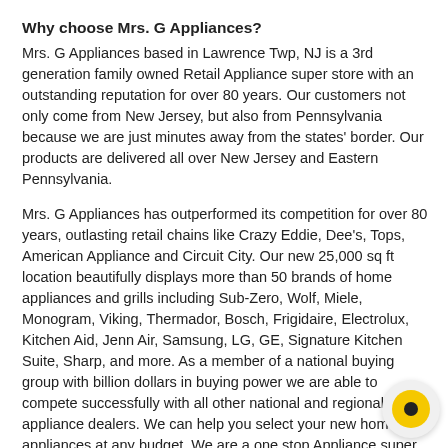Why choose Mrs. G Appliances?
Mrs. G Appliances based in Lawrence Twp, NJ is a 3rd generation family owned Retail Appliance super store with an outstanding reputation for over 80 years. Our customers not only come from New Jersey, but also from Pennsylvania because we are just minutes away from the states' border. Our products are delivered all over New Jersey and Eastern Pennsylvania.
Mrs. G Appliances has outperformed its competition for over 80 years, outlasting retail chains like Crazy Eddie, Dee's, Tops, American Appliance and Circuit City. Our new 25,000 sq ft location beautifully displays more than 50 brands of home appliances and grills including Sub-Zero, Wolf, Miele, Monogram, Viking, Thermador, Bosch, Frigidaire, Electrolux, Kitchen Aid, Jenn Air, Samsung, LG, GE, Signature Kitchen Suite, Sharp, and more. As a member of a national buying group with billion dollars in buying power we are able to compete successfully with all other national and regional appliance dealers. We can help you select your new home appliances at any budget. We are a one stop Appliance super store. With our large inventory you can easily make the best selection.